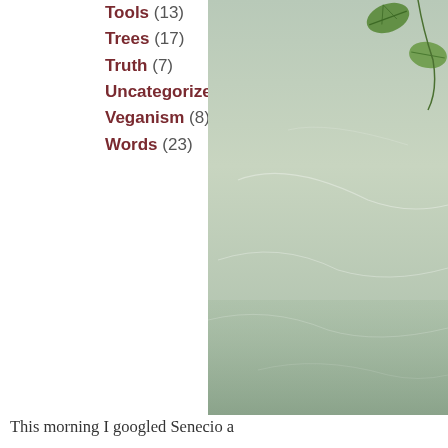Tools (13)
Trees (17)
Truth (7)
Uncategorized (19)
Veganism (8)
Words (23)
[Figure (photo): A pale sage-green textured wall with small green leaves (vine or climbing plant) visible in the upper right corner. The photo is cropped and partially visible on the right side of the page.]
This morning I googled Senecio a